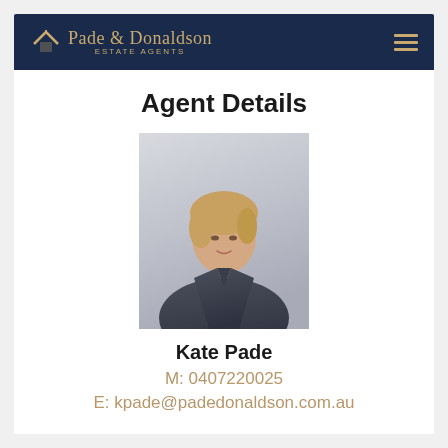Pade & Donaldson ESTATE AGENTS
Agent Details
[Figure (photo): Professional headshot of female real estate agent Kate Pade, wearing dark blazer, blonde hair, light background]
Kate Pade
M: 0407220025
E: kpade@padedonaldson.com.au